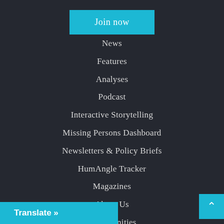Join now
News
Features
Analyses
Podcast
Interactive Storytelling
Missing Persons Dashboard
Newsletters & Policy Briefs
HumAngle Tracker
Magazines
About Us
Opportunities
Translate »